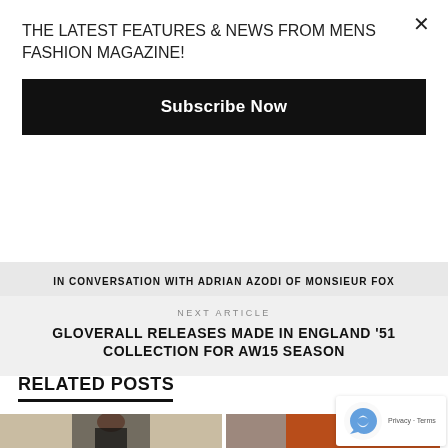THE LATEST FEATURES & NEWS FROM MENS FASHION MAGAZINE!
Subscribe Now
IN CONVERSATION WITH ADRIAN AZODI OF MONSIEUR FOX
NEXT ARTICLE
GLOVERALL RELEASES MADE IN ENGLAND '51 COLLECTION FOR AW15 SEASON
RELATED POSTS
[Figure (photo): Fashion photo of a man in a dark shirt against a light background]
[Figure (photo): Partial fashion photo with orange/warm tones]